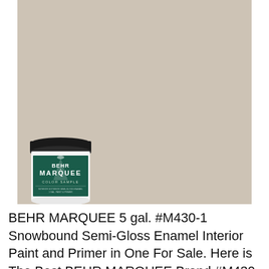[Figure (photo): A BEHR MARQUEE paint color sample swatch showing a warm greige/taupe color (Snowbound #M430-1) filling most of the rectangle, with a BEHR MARQUEE Color Sample paint can jar in the lower left corner. The jar has a black lid, white body, and a dark green label with the BEHR MARQUEE branding and a spotlight/marquee graphic.]
BEHR MARQUEE 5 gal. #M430-1 Snowbound Semi-Gloss Enamel Interior Paint and Primer in One For Sale. Here is The Best BEHR MARQUEE Brand #M430